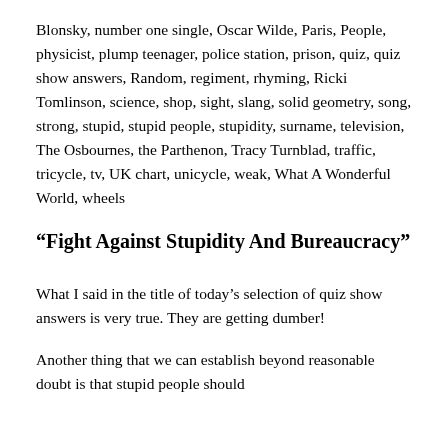Blonsky, number one single, Oscar Wilde, Paris, People, physicist, plump teenager, police station, prison, quiz, quiz show answers, Random, regiment, rhyming, Ricki Tomlinson, science, shop, sight, slang, solid geometry, song, strong, stupid, stupid people, stupidity, surname, television, The Osbournes, the Parthenon, Tracy Turnblad, traffic, tricycle, tv, UK chart, unicycle, weak, What A Wonderful World, wheels
“Fight Against Stupidity And Bureaucracy”
What I said in the title of today’s selection of quiz show answers is very true. They are getting dumber!
Another thing that we can establish beyond reasonable doubt is that stupid people should